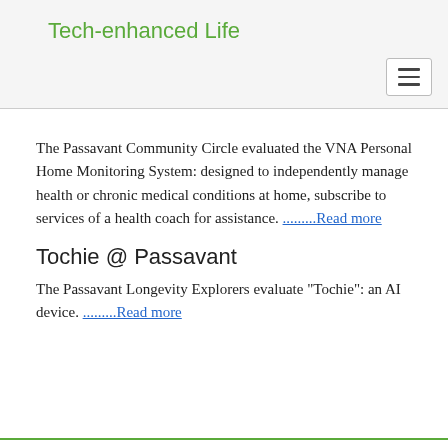Tech-enhanced Life
The Passavant Community Circle evaluated the VNA Personal Home Monitoring System: designed to independently manage health or chronic medical conditions at home, subscribe to services of a health coach for assistance. .........Read more
Tochie @ Passavant
The Passavant Longevity Explorers evaluate "Tochie": an AI device. .........Read more